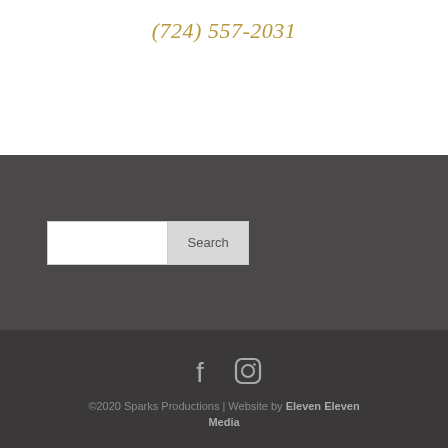(724) 557-2031
[Figure (screenshot): Search bar with white input field and 'Search' button on dark gray background]
[Figure (infographic): Facebook and Instagram social media icons in gray/white on dark background]
©2020 Sparks Productions | Website by Eleven Eleven Media